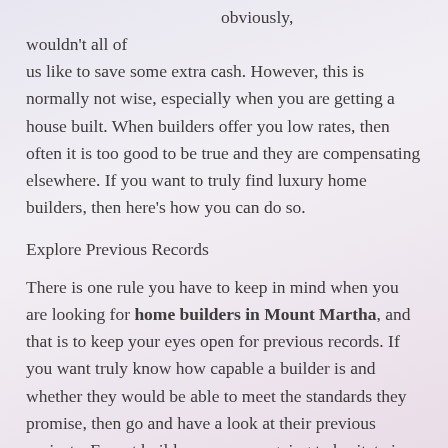obviously, wouldn't all of us like to save some extra cash. However, this is normally not wise, especially when you are getting a house built. When builders offer you low rates, then often it is too good to be true and they are compensating elsewhere. If you want to truly find luxury home builders, then here's how you can do so.
Explore Previous Records
There is one rule you have to keep in mind when you are looking for home builders in Mount Martha, and that is to keep your eyes open for previous records. If you want truly know how capable a builder is and whether they would be able to meet the standards they promise, then go and have a look at their previous projects. Expert builders are never going to hesitate in showcasing their older projects. In fact, this gives them a chance to earn the trust of their client. So, if they start making up excuses when you ask them to show you their previous